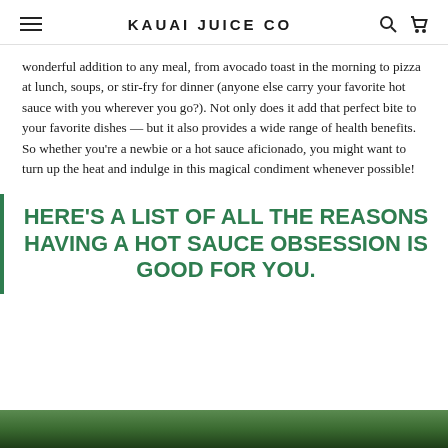KAUAI JUICE CO
wonderful addition to any meal, from avocado toast in the morning to pizza at lunch, soups, or stir-fry for dinner (anyone else carry your favorite hot sauce with you wherever you go?). Not only does it add that perfect bite to your favorite dishes — but it also provides a wide range of health benefits. So whether you're a newbie or a hot sauce aficionado, you might want to turn up the heat and indulge in this magical condiment whenever possible!
HERE'S A LIST OF ALL THE REASONS HAVING A HOT SAUCE OBSESSION IS GOOD FOR YOU.
[Figure (photo): Bottom strip showing a photo of green foliage/plants, partially visible at the bottom of the page]